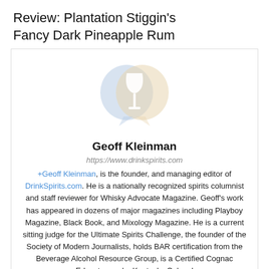Review: Plantation Stiggin's Fancy Dark Pineapple Rum
[Figure (logo): DrinkSpirits.com logo — two overlapping chat-bubble shapes in light blue and light orange/tan, with a white wine glass silhouette in the center]
Geoff Kleinman
https://www.drinkspirits.com
+Geoff Kleinman, is the founder, and managing editor of DrinkSpirits.com. He is a nationally recognized spirits columnist and staff reviewer for Whisky Advocate Magazine. Geoff's work has appeared in dozens of major magazines including Playboy Magazine, Black Book, and Mixology Magazine. He is a current sitting judge for the Ultimate Spirits Challenge, the founder of the Society of Modern Journalists, holds BAR certification from the Beverage Alcohol Resource Group, is a Certified Cognac Educator, and a Kentucky Colonel